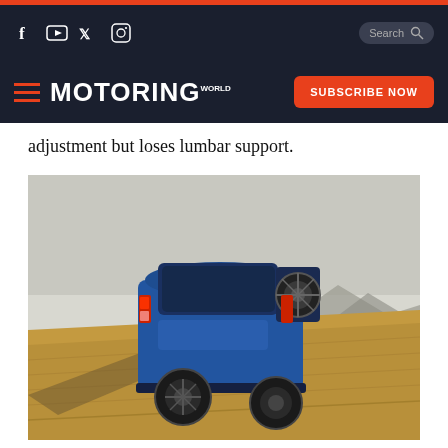Motoring World - Navigation bar with social icons, search, logo, and subscribe button
adjustment but loses lumbar support.
[Figure (photo): Rear three-quarter view of a blue Ford EcoSport SUV with spare tire mounted on the tailgate, driving through a dry golden field with hazy mountains in the background.]